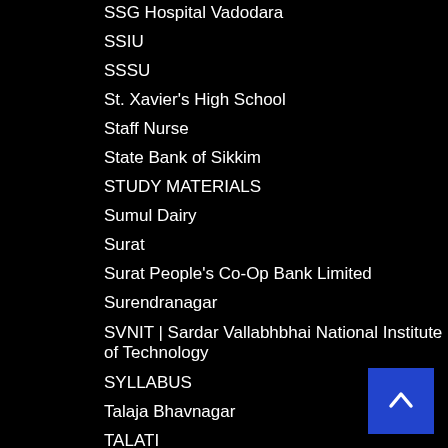SSG Hospital Vadodara
SSIU
SSSU
St. Xavier's High School
Staff Nurse
State Bank of Sikkim
STUDY MATERIALS
Sumul Dairy
Surat
Surat People's Co-Op Bank Limited
Surendranagar
SVNIT | Sardar Vallabhbhai National Institute of Technology
SYLLABUS
Talaja Bhavnagar
TALATI